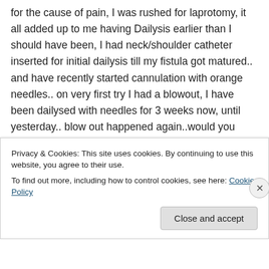for the cause of pain, I was rushed for laprotomy, it all added up to me having Dailysis earlier than I should have been, I had neck/shoulder catheter inserted for initial dailysis till my fistula got matured.. and have recently started cannulation with orange needles.. on very first try I had a blowout, I have been dailysed with needles for 3 weeks now, until yesterday.. blow out happened again..would you shed some light if this is normal for new fistula ?

Great work
Privacy & Cookies: This site uses cookies. By continuing to use this website, you agree to their use.
To find out more, including how to control cookies, see here: Cookie Policy